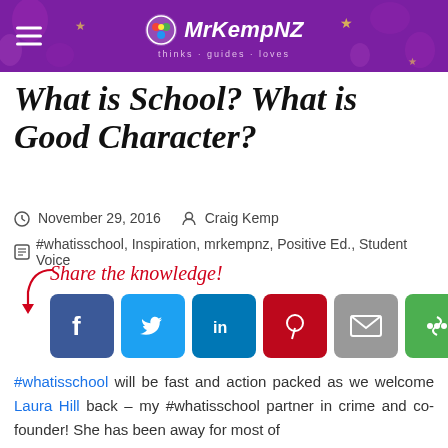MrKempNZ — thinks · guides · loves
What is School? What is Good Character?
November 29, 2016   Craig Kemp
#whatisschool, Inspiration, mrkempnz, Positive Ed., Student Voice
Share the knowledge!
[Figure (infographic): Social sharing buttons: Facebook, Twitter, LinkedIn, Pinterest, Email, More (green)]
#whatisschool will be fast and action packed as we welcome Laura Hill back – my #whatisschool partner in crime and co-founder! She has been away for most of